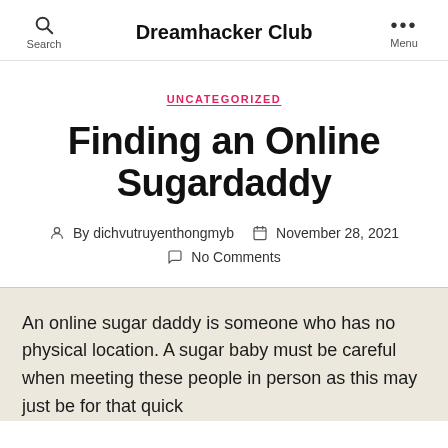Dreamhacker Club
UNCATEGORIZED
Finding an Online Sugardaddy
By dichvutruyenthongmyb   November 28, 2021
No Comments
An online sugar daddy is someone who has no physical location. A sugar baby must be careful when meeting these people in person as this may just be for that quick